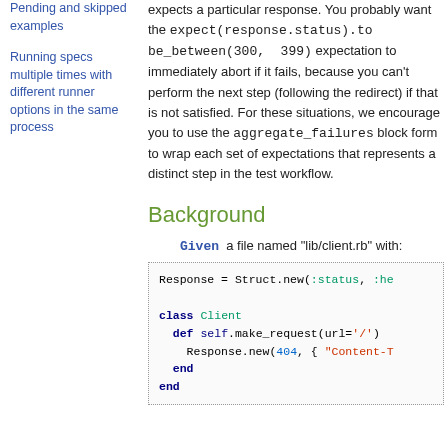Pending and skipped examples
Running specs multiple times with different runner options in the same process
expects a particular response. You probably want the expect(response.status).to be_between(300, 399) expectation to immediately abort if it fails, because you can't perform the next step (following the redirect) if that is not satisfied. For these situations, we encourage you to use the aggregate_failures block form to wrap each set of expectations that represents a distinct step in the test workflow.
Background
Given  a file named "lib/client.rb" with:
Response = Struct.new(:status, :he

class Client
  def self.make_request(url='/')
    Response.new(404, { "Content-T
  end
end